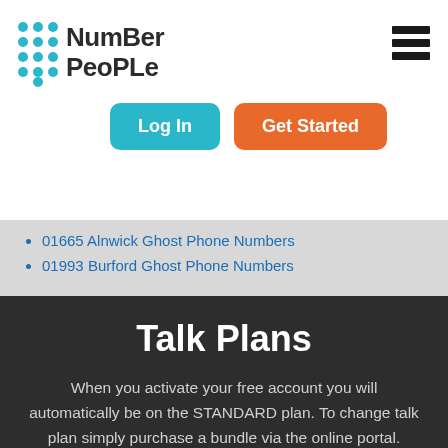[Figure (logo): Number People logo with dot grid and text]
01665 Alnwick Ghost Phone Numbers
01993 Burford Ghost Phone Numbers
Talk Plans
When you activate your free account you will automatically be on the STANDARD plan. To change talk plan simply purchase a bundle via the online portal. Talk plan bundles last for 30 days with no contract or minimum period.